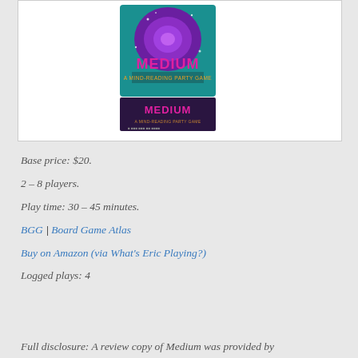[Figure (photo): Board game box for 'Medium: A Mind-Reading Party Game' showing purple swirl artwork on teal background with pink title text, and a reflection/bottom view of the box below]
Base price: $20.
2 – 8 players.
Play time: 30 – 45 minutes.
BGG | Board Game Atlas
Buy on Amazon (via What's Eric Playing?)
Logged plays: 4
Full disclosure: A review copy of Medium was provided by